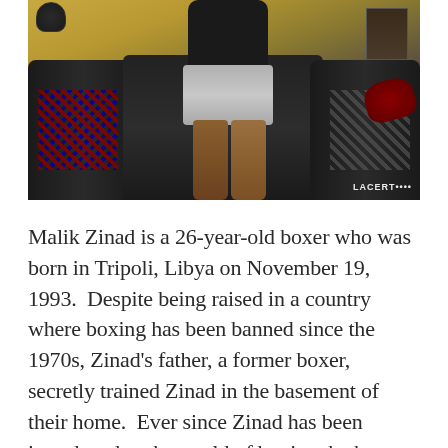[Figure (photo): A person standing in a boxing gym, viewed from behind/side, wearing a dark top and grey shorts. Boxing ring padding and equipment visible in the background including chains, gloves, and posters. Lacerta branding visible in bottom right of the photo.]
Malik Zinad is a 26-year-old boxer who was born in Tripoli, Libya on November 19, 1993.  Despite being raised in a country where boxing has been banned since the 1970s, Zinad's father, a former boxer, secretly trained Zinad in the basement of their home.  Ever since Zinad has been introduced to the world of boxing, he has been committed to becoming a World